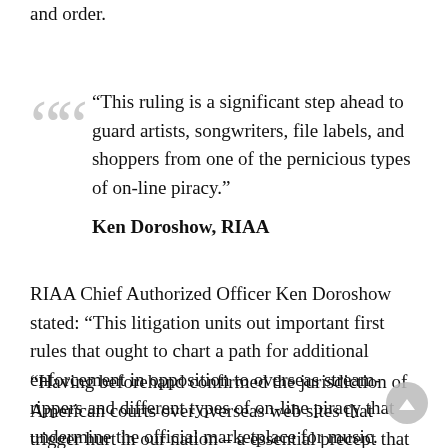and order.
“This ruling is a significant step ahead to guard artists, songwriters, file labels, and shoppers from one of the pernicious types of on-line piracy.”
Ken Doroshow, RIAA
RIAA Chief Authorized Officer Ken Doroshow stated: “This litigation units out important first rules that ought to chart a path for additional enforcement in opposition to overseas stream-rippers and different types of on-line piracy that undermine the official marketplace for music.
“Having beforehand confirmed the jurisdiction of American courts over overseas web sites that trigger hurt in our nation – a essential precept that enables US copyright house owners in addition to different victims of